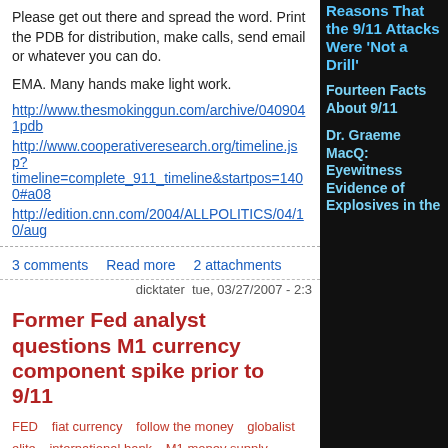Please get out there and spread the word. Print the PDB for distribution, make calls, send email or whatever you can do.
EMA. Many hands make light work.
http://www.thesmokinggun.com/archive/0409041pdb
http://www.cooperativeresearch.org/timeline.jsp?timeline=complete_911_timeline&startpos=1400#a08
http://edition.cnn.com/2004/ALLPOLITICS/04/10/aug
3 comments   Read more   2 attachments
dicktater tue, 03/27/2007 - 2:3
Former Fed analyst questions M1 currency component spike prior to 9/11
FED   fiat currency   follow the money   globalist elite   international bank   M1 money supply   money laundering   Prior knowledge   put options
Good detectives don't need to be reminded to "follow the money" when investigating a crime. However, according to Thomas Kean, the chairman of the 9/11 Commission, following the money trail in the many crimes committed in connection with the events of September 11th was "of little practical significance." For Kean, following the money in crimes that includ
Reasons That the 9/11 Attacks Were 'Not a Drill'
Fourteen Facts About 9/11
Dr. Graeme MacQ: Eyewitness Evidence of Explosives in the